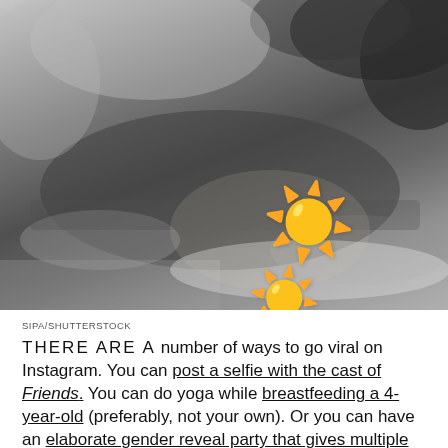[Figure (photo): Black and white photograph of a person reclining on a lounge chair outdoors, with sun emoji overlays censoring parts of the image. Background shows foliage.]
SIPA/SHUTTERSTOCK
THERE ARE A number of ways to go viral on Instagram. You can post a selfie with the cast of Friends. You can do yoga while breastfeeding a 4-year-old (preferably, not your own). Or you can have an elaborate gender reveal party that gives multiple people head injuries. But perhaps the most surefire way — the one totally